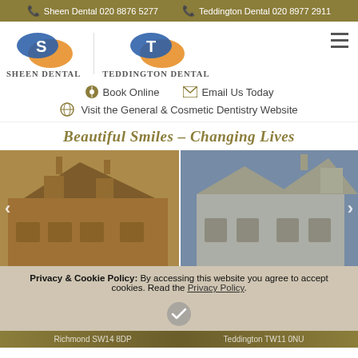Sheen Dental 020 8876 5277   Teddington Dental 020 8977 2911
[Figure (logo): Sheen Dental and Teddington Dental dual logos with circular 'S' and 'T' icons in blue and orange]
Book Online
Email Us Today
Visit the General & Cosmetic Dentistry Website
Beautiful Smiles – Changing Lives
[Figure (photo): Two side-by-side photos showing exterior buildings: left shows a red-brick Victorian terrace (Sheen Dental, Richmond SW14 8DP), right shows a cream Victorian building (Teddington Dental, Teddington TW11 0NU)]
Privacy & Cookie Policy: By accessing this website you agree to accept cookies. Read the Privacy Policy.
Richmond SW14 8DP   Teddington TW11 0NU